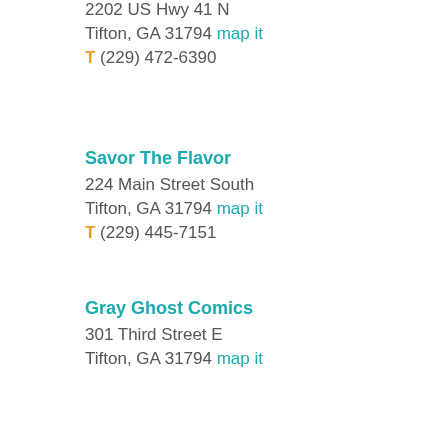2202 US Hwy 41 N
Tifton, GA 31794 map it
T (229) 472-6390
Savor The Flavor
224 Main Street South
Tifton, GA 31794 map it
T (229) 445-7151
Gray Ghost Comics
301 Third Street E
Tifton, GA 31794 map it